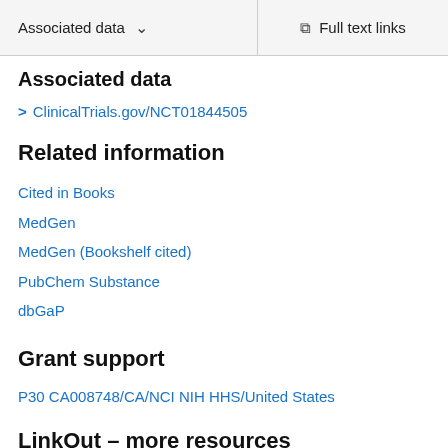Associated data   ∨   Full text links
Associated data
> ClinicalTrials.gov/NCT01844505
Related information
Cited in Books
MedGen
MedGen (Bookshelf cited)
PubChem Substance
dbGaP
Grant support
P30 CA008748/CA/NCI NIH HHS/United States
LinkOut – more resources